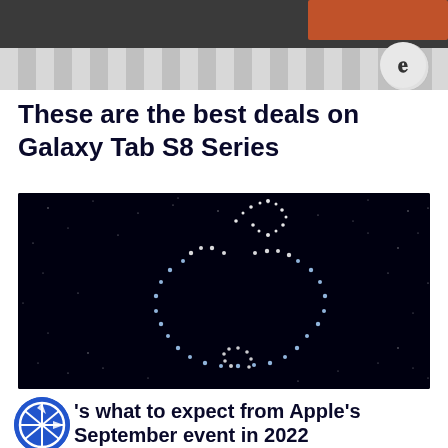[Figure (photo): Top portion of a photo showing a tablet/laptop device on a surface with an orange object, with vertical striped curtain/blind below. A circular badge with letter P is visible on the right side.]
These are the best deals on Galaxy Tab S8 Series
[Figure (photo): Dark background with sparkling star-like dots forming the Apple logo shape in the center. The Apple logo is outlined in glowing white/blue dots against a black night sky background.]
Here's what to expect from Apple's September event in 2022